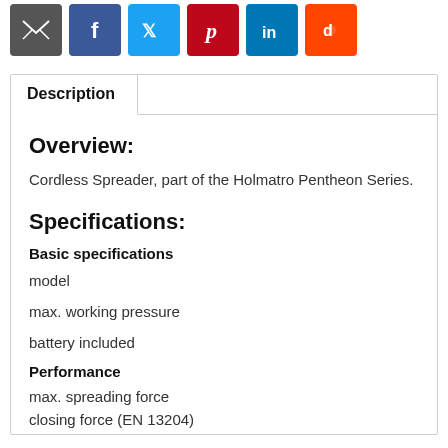[Figure (infographic): Row of social sharing icon buttons: email (dark grey), Facebook (blue), Twitter (light blue), Pinterest (red), LinkedIn (teal/blue), Reddit (orange)]
Description
Overview:
Cordless Spreader, part of the Holmatro Pentheon Series.
Specifications:
Basic specifications
model
max. working pressure
battery included
Performance
max. spreading force
closing force (EN 13204)